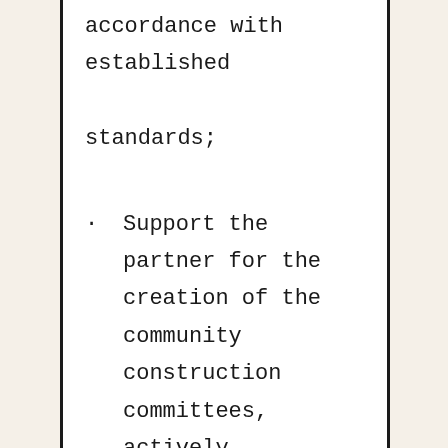accordance with established standards;
Support the partner for the creation of the community construction committees, actively participate to the meeting and assist in resolving problems;